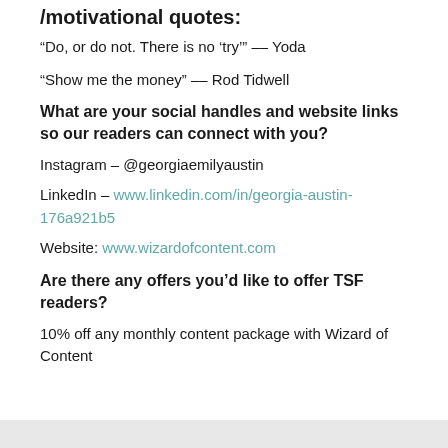/motivational quotes:
“Do, or do not. There is no ‘try’” –– Yoda
“Show me the money” –– Rod Tidwell
What are your social handles and website links so our readers can connect with you?
Instagram – @georgiaemilyaustin
LinkedIn – www.linkedin.com/in/georgia-austin-176a921b5
Website: www.wizardofcontent.com
Are there any offers you’d like to offer TSF readers?
10% off any monthly content package with Wizard of Content